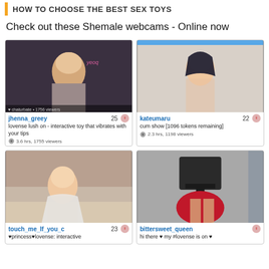HOW TO CHOOSE THE BEST SEX TOYS
Check out these Shemale webcams - Online now
[Figure (photo): Webcam thumbnail grid showing four performers: jhenna_greey (25), kateumaru (22), touch_me_If_you_c (23), bittersweet_queen]
jhenna_greey 25 - lovense lush on - interactive toy that vibrates with your tips - 3.6 hrs, 1755 viewers
kateumaru 22 - cum show [1096 tokens remaining] - 2.3 hrs, 1198 viewers
touch_me_If_you_c 23 - ♥princess♥lovense: interactive
bittersweet_queen - hi there ♥ my #lovense is on ♥